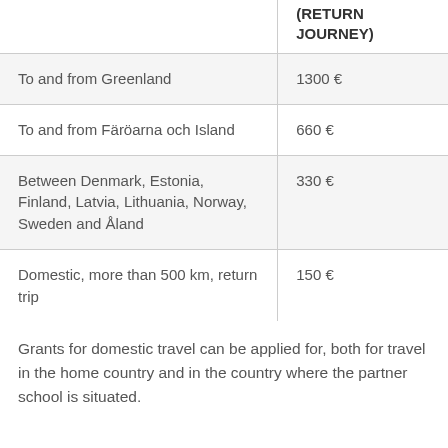|  | (RETURN JOURNEY) |
| --- | --- |
| To and from Greenland | 1300 € |
| To and from Färöarna och Island | 660 € |
| Between Denmark, Estonia, Finland, Latvia, Lithuania, Norway, Sweden and Åland | 330 € |
| Domestic, more than 500 km, return trip | 150 € |
Grants for domestic travel can be applied for, both for travel in the home country and in the country where the partner school is situated.